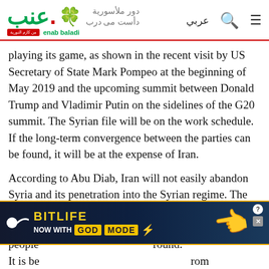Enab Baladi / عنب بلدي - news website header with logo and navigation icons
playing its game, as shown in the recent visit by US Secretary of State Mark Pompeo at the beginning of May 2019 and the upcoming summit between Donald Trump and Vladimir Putin on the sidelines of the G20 summit. The Syrian file will be on the work schedule. If the long-term convergence between the parties can be found, it will be at the expense of Iran.
According to Abu Diab, Iran will not easily abandon Syria and its penetration into the Syrian regime. The debts and donations are in exchange for the seizure of land, the naturalization of tens of thousands of people [ad overlay] military ground. It is be[ad overlay]rom Syria is not possible. However, it can be said that the
[Figure (other): BitLife advertisement banner: 'BitLife NOW WITH GOD MODE' with lightning bolt and pointing hand graphic, dark blue background with gold border]